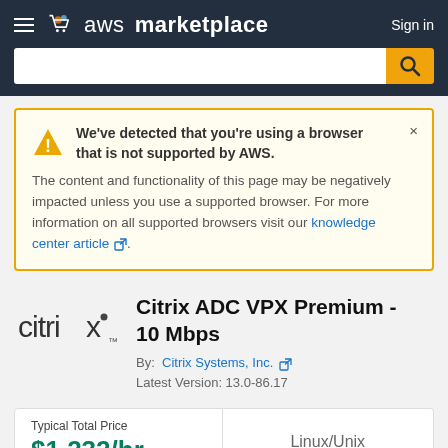aws marketplace  Sign in
We've detected that you're using a browser that is not supported by AWS. The content and functionality of this page may be negatively impacted unless you use a supported browser. For more information on all supported browsers visit our knowledge center article.
Citrix ADC VPX Premium - 10 Mbps
By: Citrix Systems, Inc.
Latest Version: 13.0-86.17
Typical Total Price
$1,232/hr
Linux/Unix